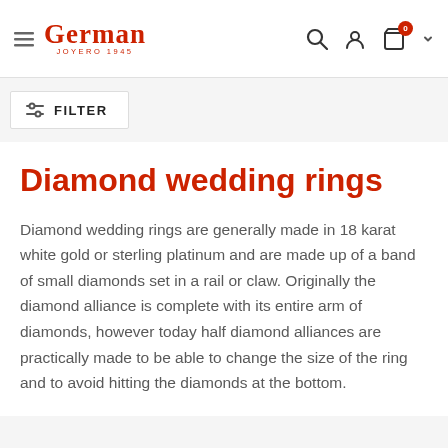German Joyero 1945 [navigation: search, account, cart (0)]
FILTER
Diamond wedding rings
Diamond wedding rings are generally made in 18 karat white gold or sterling platinum and are made up of a band of small diamonds set in a rail or claw. Originally the diamond alliance is complete with its entire arm of diamonds, however today half diamond alliances are practically made to be able to change the size of the ring and to avoid hitting the diamonds at the bottom.